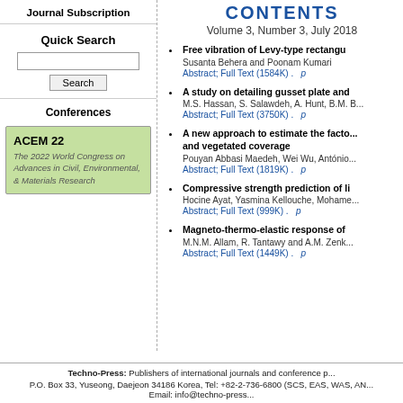Journal Subscription
Quick Search
Conferences
ACEM 22
The 2022 World Congress on Advances in Civil, Environmental, & Materials Research
CONTENTS
Volume 3, Number 3, July 2018
Free vibration of Levy-type rectangu...
Susanta Behera and Poonam Kumari
Abstract; Full Text (1584K) .
A study on detailing gusset plate and...
M.S. Hassan, S. Salawdeh, A. Hunt, B.M. B...
Abstract; Full Text (3750K) .
A new approach to estimate the facto... and vegetated coverage
Pouyan Abbasi Maedeh, Wei Wu, António...
Abstract; Full Text (1819K) .
Compressive strength prediction of li...
Hocine Ayat, Yasmina Kellouche, Mohame...
Abstract; Full Text (999K) .
Magneto-thermo-elastic response of ...
M.N.M. Allam, R. Tantawy and A.M. Zenk...
Abstract; Full Text (1449K) .
Techno-Press: Publishers of international journals and conference p...
P.O. Box 33, Yuseong, Daejeon 34186 Korea, Tel: +82-2-736-6800 (SCS, EAS, WAS, AN...
Email: info@techno-press...